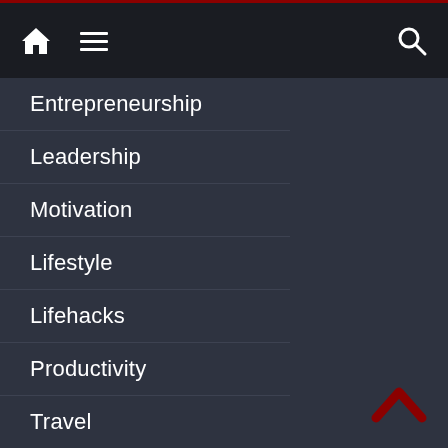Home | Menu | Search
Entrepreneurship
Leadership
Motivation
Lifestyle
Lifehacks
Productivity
Travel
Wellness
Health
Inner Peace
Beauty
Guest Post Submission